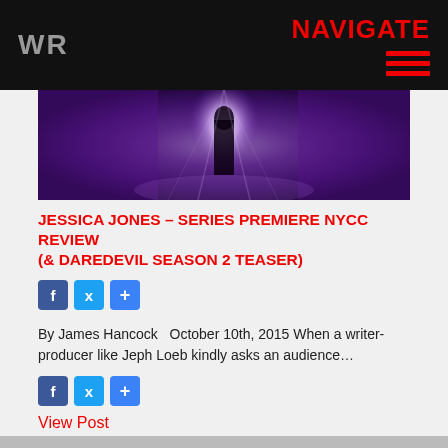WR  NAVIGATE
[Figure (photo): Dark purple-hued scene with a figure silhouetted against bright light, dramatic cinematic atmosphere]
JESSICA JONES – SERIES PREMIERE NYCC REVIEW (& DAREDEVIL SEASON 2 TEASER)
By James Hancock  October 10th, 2015 When a writer-producer like Jeph Loeb kindly asks an audience…
View Post